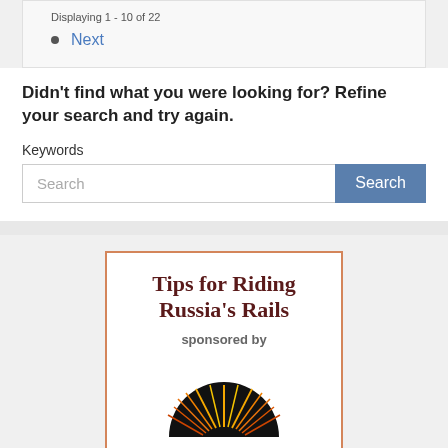Next
Didn't find what you were looking for? Refine your search and try again.
Keywords
Search
[Figure (illustration): Advertisement box with orange border. Title reads 'Tips for Riding Russia's Rails', 'sponsored by', and a MIR logo showing a black semicircle with radiating sunburst rays in orange/yellow/red, above the text 'MIR']